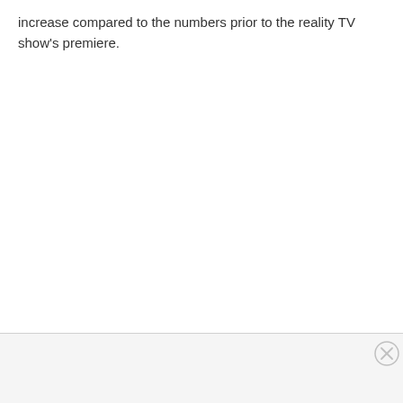increase compared to the numbers prior to the reality TV show's premiere.
[Figure (other): Close button (X in a circle) in the bottom-right corner of an advertisement area, with a light gray horizontal separator bar above it.]